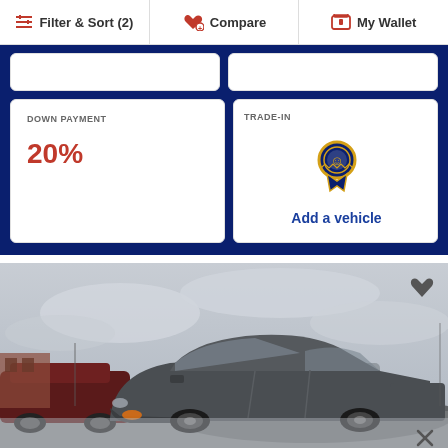Filter & Sort (2)  Compare  My Wallet
DOWN PAYMENT
20%
TRADE-IN
Add a vehicle
[Figure (photo): A grey/dark sedan car photographed in a parking lot with overcast sky. A heart icon is in the upper right and an X close button in the lower right.]